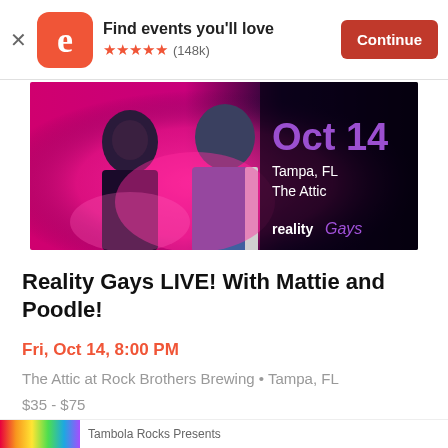[Figure (screenshot): Eventbrite app banner with logo, 'Find events you'll love', five orange stars, (148k) rating, and orange Continue button]
[Figure (photo): Event promotional image showing two men in jackets against a pink/magenta background with text: Oct 14, Tampa, FL, The Attic, realityGays logo]
Reality Gays LIVE! With Mattie and Poodle!
Fri, Oct 14, 8:00 PM
The Attic at Rock Brothers Brewing • Tampa, FL
$35 - $75
[Figure (photo): Bottom strip showing partial rainbow flag image and partial text 'Tambola Rocks Presents']